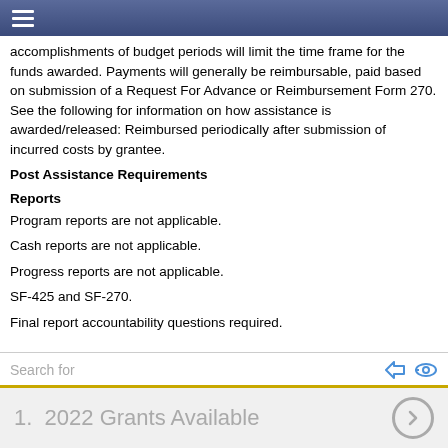accomplishments of budget periods will limit the time frame for the funds awarded. Payments will generally be reimbursable, paid based on submission of a Request For Advance or Reimbursement Form 270. See the following for information on how assistance is awarded/released: Reimbursed periodically after submission of incurred costs by grantee.
Post Assistance Requirements
Reports
Program reports are not applicable.
Cash reports are not applicable.
Progress reports are not applicable.
SF-425 and SF-270.
Final report accountability questions required.
Audits
In accordance with the provisions of 2 CFR 200, Subpart F - Audit Requirements, non-Federal entities that expend financial assistance of